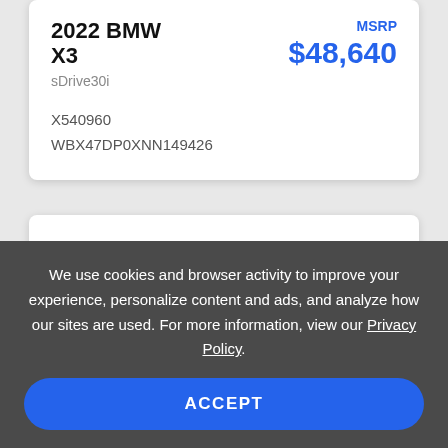2022 BMW X3
sDrive30i
MSRP $48,640
X540960
WBX47DP0XNN149426
We use cookies and browser activity to improve your experience, personalize content and ads, and analyze how our sites are used. For more information, view our Privacy Policy.
ACCEPT